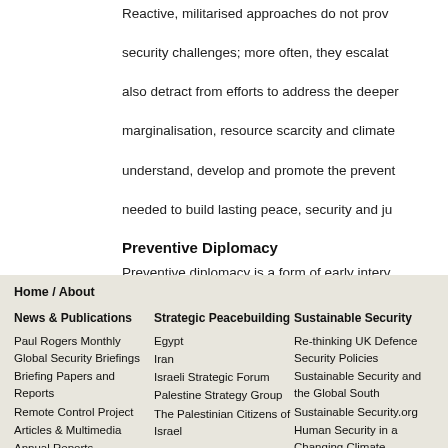Reactive, militarised approaches do not provide lasting solutions to security challenges; more often, they escalate them. They also detract from efforts to address the deeper causes of violence — marginalisation, resource scarcity and climate change. We work to understand, develop and promote the preventive approaches needed to build lasting peace, security and justice.
Preventive Diplomacy
Preventive diplomacy is a form of early intervention aimed at preventing conflict from becoming violent or escalating. Our research explores alternative forms of diplomacy independent from the institutional bureaucracy and policy positions that encumber official diplomats. We call this the Oxford Process.
Home / About
News & Publications
Paul Rogers Monthly Global Security Briefings
Briefing Papers and Reports
Remote Control Project
Articles & Multimedia
Annual Reports
Press Releases
Strategic Peacebuilding
Egypt
Iran
Israeli Strategic Forum
Palestine Strategy Group
The Palestinian Citizens of Israel
Sustainable Security
Re-thinking UK Defence Security Policies
Sustainable Security and the Global South
Sustainable Security.org
Human Security in a Changing Climate